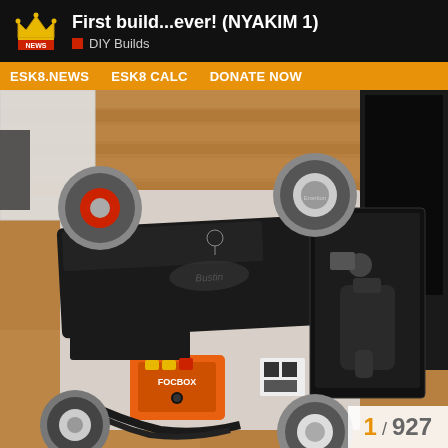First build...ever! (NYAKIM 1) | DIY Builds
ESK8.NEWS  ESK8 CALC  DONATE NOW
[Figure (photo): Top-down view of an electric skateboard build laid out on a wooden floor/table, showing the deck upside down, four large wheels (two with red hubs), a black enclosure, an orange FOCBOX ESC, LiPo battery pack, wiring harness, remote control transmitter, and various components laid out for assembly.]
1 / 927